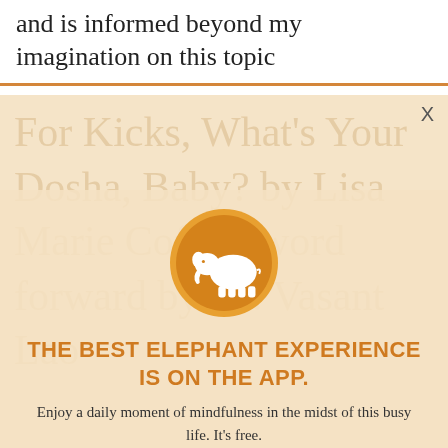and is informed beyond my imagination on this topic
[Figure (illustration): Elephant Journal app promotion modal overlay with orange elephant logo circle icon, displayed over a faded background showing book title text]
THE BEST ELEPHANT EXPERIENCE IS ON THE APP.
Enjoy a daily moment of mindfulness in the midst of this busy life. It's free.
GET THE APP
OPEN IN APP